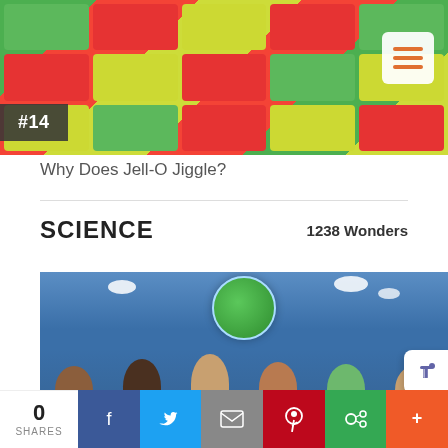[Figure (photo): Colorful Jell-O cubes in green, red, and yellow arranged in a grid pattern]
#14
Why Does Jell-O Jiggle?
SCIENCE    1238 Wonders
[Figure (photo): Children looking up at a globe illustration against a blue background, numbered #2884]
0 SHARES  [Facebook] [Twitter] [Email] [Pinterest] [Google+] [+]